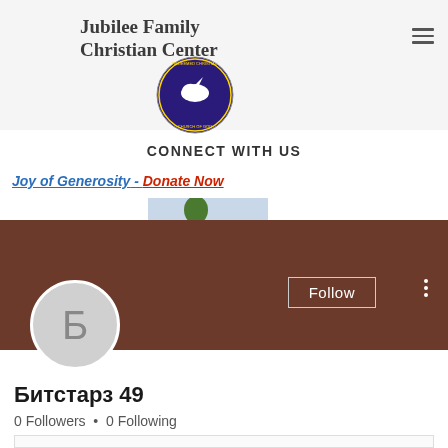[Figure (logo): Jubilee Family Christian Center header with RCCG circular logo and hamburger menu icon]
CONNECT WITH US
Joy of Generosity - Donate Now
[Figure (photo): Small thumbnail image of a tree against a building/landscape]
[Figure (photo): Brown banner background with Follow button and three dots menu. Profile avatar circle showing Cyrillic letter Б]
Битстарз 49
0 Followers • 0 Following